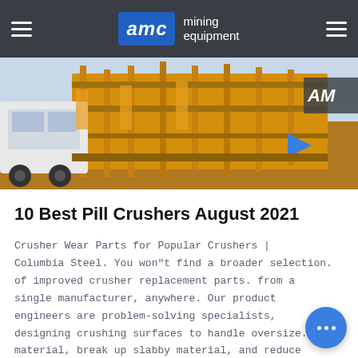AMC mining equipment
[Figure (photo): Photograph of large yellow mining/crushing equipment machinery with AMC branding visible, shot from a low angle showing structural framework and machinery components.]
10 Best Pill Crushers August 2021
Crusher Wear Parts for Popular Crushers | Columbia Steel. You won"t find a broader selection. of improved crusher replacement parts. from a single manufacturer, anywhere. Our product engineers are problem-solving specialists, designing crushing surfaces to handle oversize... material, break up slabby material, and reduce